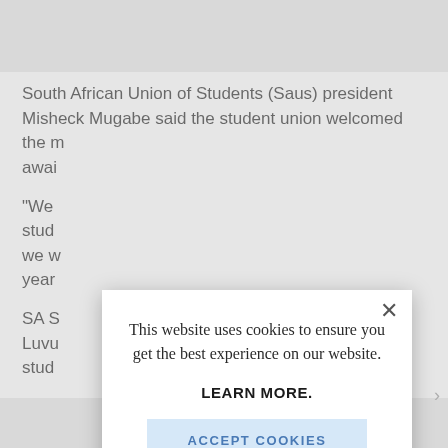South African Union of Students (Saus) president Misheck Mugabe said the student union welcomed the [move] await[ing details].
"We [welcome this for] students [and] we w[ill ensure this] year[s ahead].
SA S[aus president] Luvu [said the] stud[ent union]...
[Figure (screenshot): Cookie consent modal popup overlaying an article page. Modal contains text 'This website uses cookies to ensure you get the best experience on our website.' followed by 'LEARN MORE.' in bold and an 'ACCEPT COOKIES' button in light blue. An X close button is in the top right corner of the modal.]